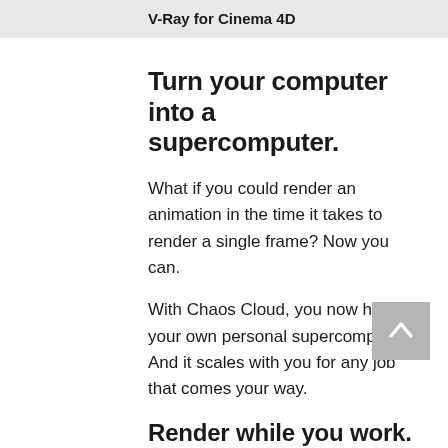V-Ray for Cinema 4D
Turn your computer into a supercomputer.
What if you could render an animation in the time it takes to render a single frame? Now you can.
With Chaos Cloud, you now have your own personal supercomputer. And it scales with you for any job that comes your way.
Render while you work.
Keep creating. Keep designing. Let Chaos Cloud do the rendering so you can keep working.
And you can render multiple jobs at